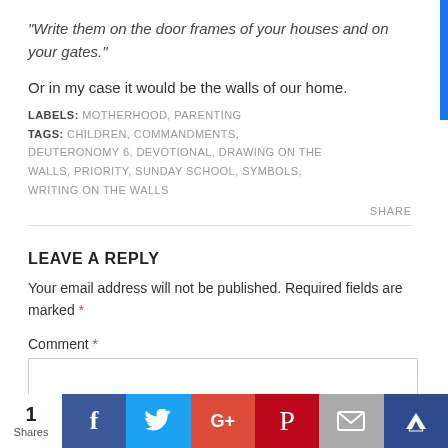“Write them on the door frames of your houses and on your gates.”
Or in my case it would be the walls of our home.
LABELS: MOTHERHOOD, PARENTING
TAGS: CHILDREN, COMMANDMENTS, DEUTERONOMY 6, DEVOTIONAL, DRAWING ON THE WALLS, PRIORITY, SUNDAY SCHOOL, SYMBOLS, WRITING ON THE WALLS
SHARE
LEAVE A REPLY
Your email address will not be published. Required fields are marked *
Comment *